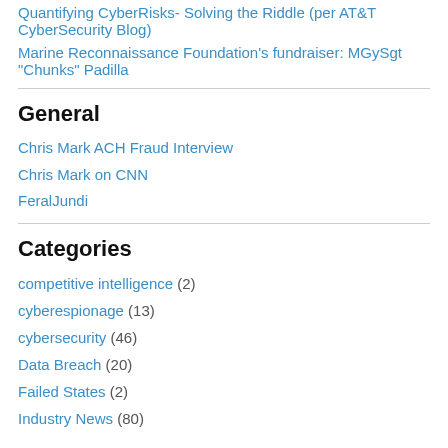Quantifying CyberRisks- Solving the Riddle (per AT&T CyberSecurity Blog)
Marine Reconnaissance Foundation's fundraiser: MGySgt “Chunks” Padilla
General
Chris Mark ACH Fraud Interview
Chris Mark on CNN
FeralJundi
Categories
competitive intelligence (2)
cyberespionage (13)
cybersecurity (46)
Data Breach (20)
Failed States (2)
Industry News (80)